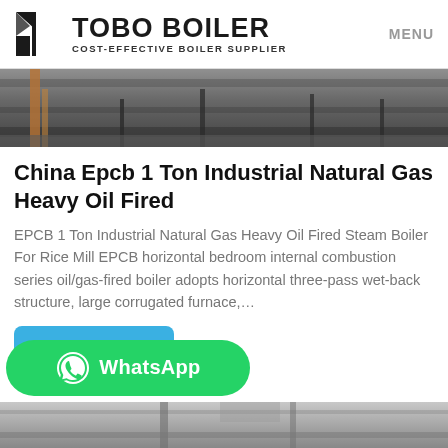TOBO BOILER COST-EFFECTIVE BOILER SUPPLIER MENU
[Figure (photo): Industrial facility/boiler room interior photograph showing metal structures and piping]
China Epcb 1 Ton Industrial Natural Gas Heavy Oil Fired
EPCB 1 Ton Industrial Natural Gas Heavy Oil Fired Steam Boiler For Rice Mill EPCB horizontal bedroom internal combustion series oil/gas-fired boiler adopts horizontal three-pass wet-back structure, large corrugated furnace,...
[Figure (other): WhatsApp contact button (green rounded rectangle with WhatsApp icon and text)]
[Figure (photo): Bottom partial photo of industrial equipment/boiler]